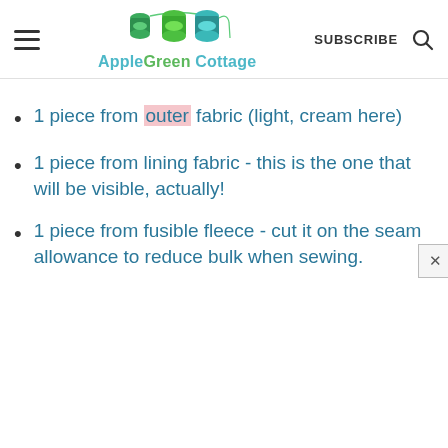AppleGreen Cottage — SUBSCRIBE
1 piece from outer fabric (light, cream here)
1 piece from lining fabric - this is the one that will be visible, actually!
1 piece from fusible fleece - cut it on the seam allowance to reduce bulk when sewing.